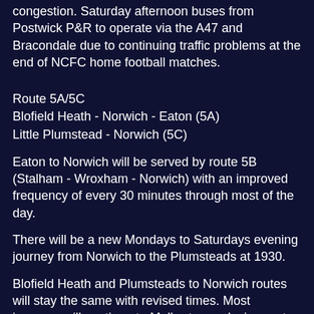congestion. Saturday afternoon buses from Postwick P&R to operate via the A47 and Bracondale due to continuing traffic problems at the end of NCFC home football matches.
Route 5A/5C
Blofield Heath - Norwich - Eaton (5A)
Little Plumstead - Norwich (5C)
Eaton to Norwich will be served by route 5B (Stalham - Wroxham - Norwich) with an improved frequency of every 30 minutes through most of the day.
There will be a new Mondays to Saturdays evening journey from Norwich to the Plumsteads at 1930.
Blofield Heath and Plumsteads to Norwich routes will stay the same with revised times. Most journeys will continue to Mulbarton replacing route 37A which will offer through journey facilities (including to retail outlets on Hall Road such as Asda, and Mulbarton to the Rail Station) and improved